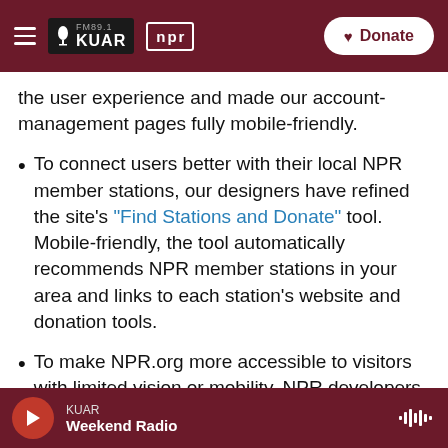FM 89.1 KUAR | npr — Donate
the user experience and made our account-management pages fully mobile-friendly.
To connect users better with their local NPR member stations, our designers have refined the site's "Find Stations and Donate" tool. Mobile-friendly, the tool automatically recommends NPR member stations in your area and links to each station's website and donation tools.
To make NPR.org more accessible to visitors with limited vision or mobility, NPR developers have added ARIA landmarks throughout the site that
KUAR — Weekend Radio